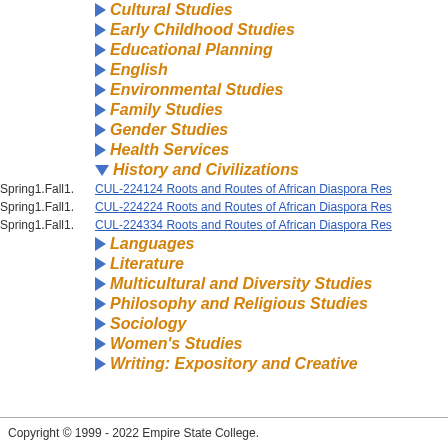Cultural Studies
Early Childhood Studies
Educational Planning
English
Environmental Studies
Family Studies
Gender Studies
Health Services
History and Civilizations
Spring1.Fall1. CUL-224124 Roots and Routes of African Diaspora Res
Spring1.Fall1. CUL-224224 Roots and Routes of African Diaspora Res
Spring1.Fall1. CUL-224334 Roots and Routes of African Diaspora Res
Languages
Literature
Multicultural and Diversity Studies
Philosophy and Religious Studies
Sociology
Women's Studies
Writing: Expository and Creative
Copyright © 1999 - 2022 Empire State College.